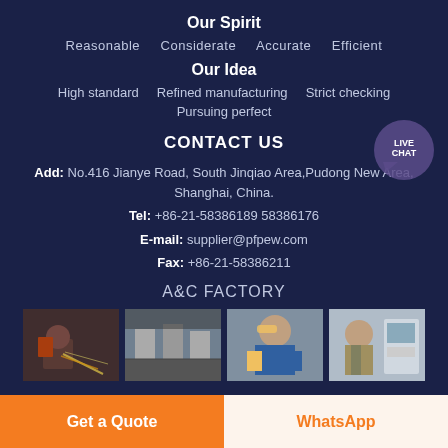Our Spirit
Reasonable    Considerate    Accurate    Efficient
Our Idea
High standard    Refined manufacturing    Strict checking
Pursuing perfect
CONTACT US
Add: No.416 Jianye Road, South Jinqiao Area,Pudong New Area, Shanghai, China.
Tel: +86-21-58386189 58386176
E-mail: supplier@pfpew.com
Fax: +86-21-58386211
A&C FACTORY
[Figure (photo): Factory worker welding with sparks]
[Figure (photo): Factory interior with machinery]
[Figure (photo): Worker in hard hat working on equipment]
[Figure (photo): Worker operating machine in factory]
[Figure (infographic): Live Chat bubble icon in purple]
Get a Quote
WhatsApp